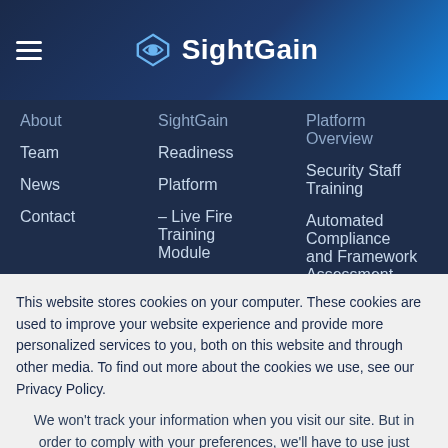SightGain
About
SightGain
Platform Overview
Team
Readiness
Security Staff Training
News
Platform
Automated Compliance and Framework Assessment
Contact
– Live Fire Training Module
SOC Performance Evaluation
– Risk
This website stores cookies on your computer. These cookies are used to improve your website experience and provide more personalized services to you, both on this website and through other media. To find out more about the cookies we use, see our Privacy Policy.
We won't track your information when you visit our site. But in order to comply with your preferences, we'll have to use just one tiny cookie so that you're not asked to make this choice again.
Accept
Decline